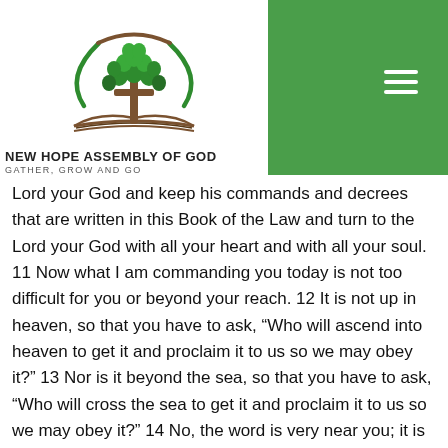[Figure (logo): New Hope Assembly of God logo: a tree with cross trunk and green leaves inside a green circular arc, above an open book, with church name and tagline below]
Lord your God and keep his commands and decrees that are written in this Book of the Law and turn to the Lord your God with all your heart and with all your soul. 11 Now what I am commanding you today is not too difficult for you or beyond your reach. 12 It is not up in heaven, so that you have to ask, “Who will ascend into heaven to get it and proclaim it to us so we may obey it?” 13 Nor is it beyond the sea, so that you have to ask, “Who will cross the sea to get it and proclaim it to us so we may obey it?” 14 No, the word is very near you; it is in your mouth and in your heart so you may obey it.